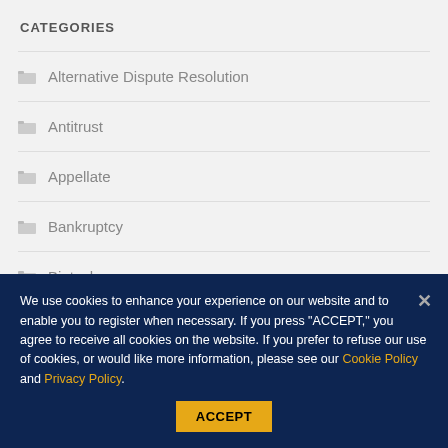CATEGORIES
Alternative Dispute Resolution
Antitrust
Appellate
Bankruptcy
Biotech
We use cookies to enhance your experience on our website and to enable you to register when necessary. If you press "ACCEPT," you agree to receive all cookies on the website. If you prefer to refuse our use of cookies, or would like more information, please see our Cookie Policy and Privacy Policy.
ACCEPT